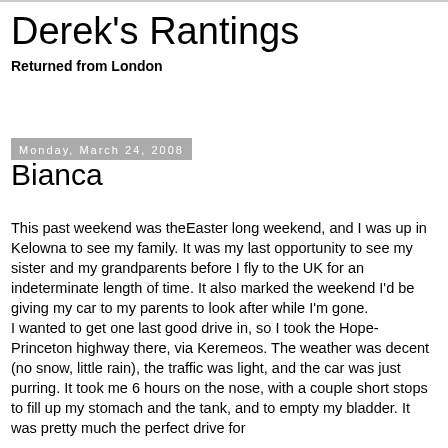Derek's Rantings
Returned from London
Monday, March 24, 2008
Bianca
This past weekend was theEaster long weekend, and I was up in Kelowna to see my family. It was my last opportunity to see my sister and my grandparents before I fly to the UK for an indeterminate length of time. It also marked the weekend I'd be giving my car to my parents to look after while I'm gone.
I wanted to get one last good drive in, so I took the Hope-Princeton highway there, via Keremeos. The weather was decent (no snow, little rain), the traffic was light, and the car was just purring. It took me 6 hours on the nose, with a couple short stops to fill up my stomach and the tank, and to empty my bladder. It was pretty much the perfect drive for